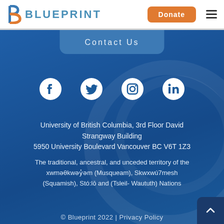[Figure (logo): Blueprint logo with stylized B icon and BLUEPRINT text in blue]
Donate
Contact Us
[Figure (infographic): Social media icons: Facebook, Twitter, Instagram, LinkedIn]
University of British Columbia, 3rd Floor David Strangway Building
5950 University Boulevard Vancouver BC V6T 1Z3
The traditional, ancestral, and unceded territory of the xwməθkwəy̓əm (Musqueam), Skwxwú7mesh (Squamish), Stó:lō and (Tsleil- Waututh) Nations
© Blueprint 2022 | Privacy Policy